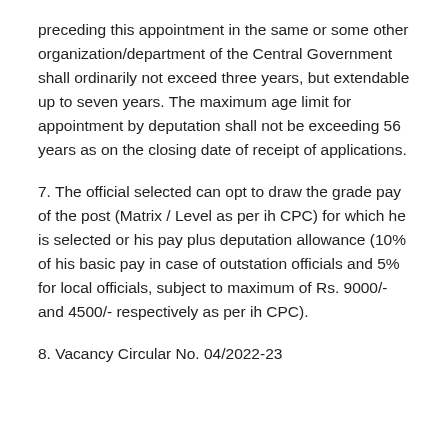preceding this appointment in the same or some other organization/department of the Central Government shall ordinarily not exceed three years, but extendable up to seven years. The maximum age limit for appointment by deputation shall not be exceeding 56 years as on the closing date of receipt of applications.
7. The official selected can opt to draw the grade pay of the post (Matrix / Level as per ih CPC) for which he is selected or his pay plus deputation allowance (10% of his basic pay in case of outstation officials and 5% for local officials, subject to maximum of Rs. 9000/- and 4500/- respectively as per ih CPC).
8. Vacancy Circular No. 04/2022-23